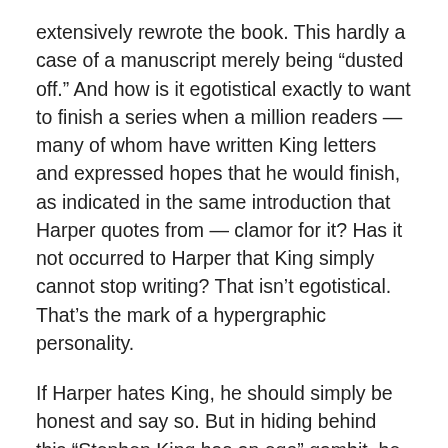extensively rewrote the book. This hardly a case of a manuscript merely being “dusted off.” And how is it egotistical exactly to want to finish a series when a million readers — many of whom have written King letters and expressed hopes that he would finish, as indicated in the same introduction that Harper quotes from — clamor for it? Has it not occurred to Harper that King simply cannot stop writing? That isn’t egotistical. That’s the mark of a hypergraphic personality.
If Harper hates King, he should simply be honest and say so. But in hiding behind this “Stephen King has an ego” gambit, he attempts to pretend, like some bumbling teenager trying to figure out how to open up a golden Trojan package but too afraid to ask for help, that it’s about King the person and not King the